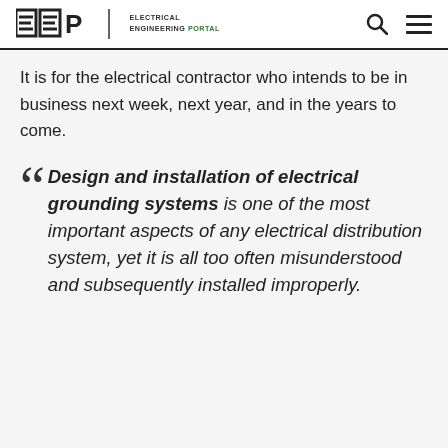EEP | ELECTRICAL ENGINEERING PORTAL
It is for the electrical contractor who intends to be in business next week, next year, and in the years to come.
“Design and installation of electrical grounding systems is one of the most important aspects of any electrical distribution system, yet it is all too often misunderstood and subsequently installed improperly.